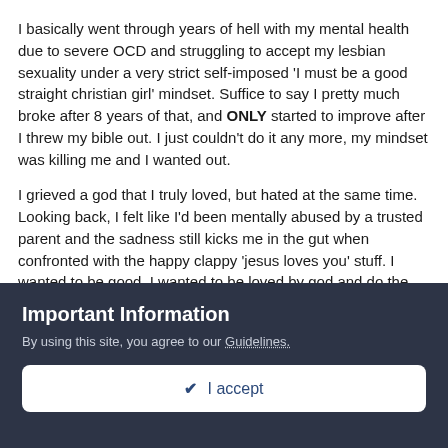I basically went through years of hell with my mental health due to severe OCD and struggling to accept my lesbian sexuality under a very strict self-imposed 'I must be a good straight christian girl' mindset.  Suffice to say I pretty much broke after 8 years of that, and ONLY started to improve after I threw my bible out.  I just couldn't do it any more, my mindset was killing me and I wanted out.
I grieved a god that I truly loved, but hated at the same time.  Looking back, I felt like I'd been mentally abused by a trusted parent and the sadness still kicks me in the gut when confronted with the happy clappy 'jesus loves you' stuff.  I wanted to be good, I wanted to be loved by god and do the right thing, but to my OCD mind, doing the right thing was mental torture.  There's lots of versions of how to interpret homosexuality now, which I'm
Important Information
By using this site, you agree to our Guidelines.
✔ I accept